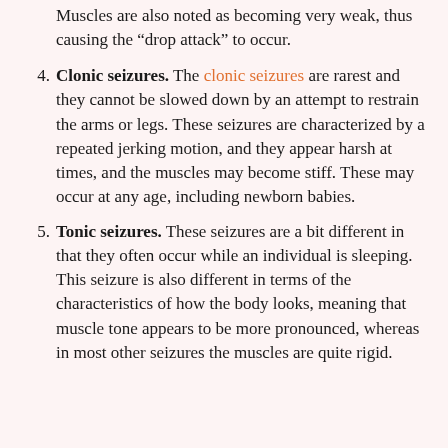Muscles are also noted as becoming very weak, thus causing the “drop attack” to occur.
4. Clonic seizures. The clonic seizures are rarest and they cannot be slowed down by an attempt to restrain the arms or legs. These seizures are characterized by a repeated jerking motion, and they appear harsh at times, and the muscles may become stiff. These may occur at any age, including newborn babies.
5. Tonic seizures. These seizures are a bit different in that they often occur while an individual is sleeping. This seizure is also different in terms of the characteristics of how the body looks, meaning that muscle tone appears to be more pronounced, whereas in most other seizures the muscles are quite rigid.